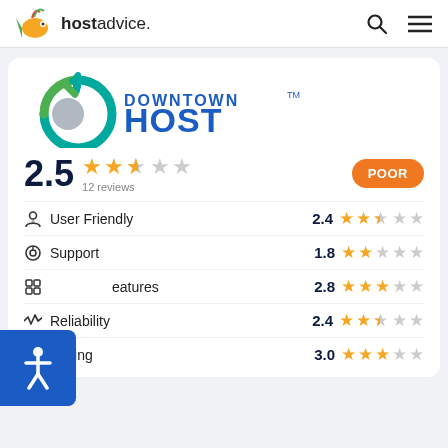hostadvice.
[Figure (logo): Downtown Host logo — circular green/teal icon with a 'D' shape and gray circle inside, plus a teal plus/cross on top. Text reads DOWNTOWN HOST in blue bold capitals with TM mark.]
2.5  12 reviews
POOR
User Friendly  2.4
Support  1.8
Features  2.8
Reliability  2.4
Pricing  3.0